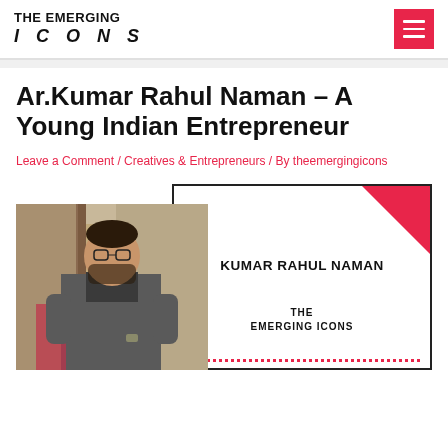THE EMERGING ICONS
Ar.Kumar Rahul Naman – A Young Indian Entrepreneur
Leave a Comment / Creatives & Entrepreneurs / By theemergingicons
[Figure (photo): Left: photograph of Kumar Rahul Naman seated; Right: white bordered profile card with 'KUMAR RAHUL NAMAN' and 'THE EMERGING ICONS' text, pink/red triangle in top-right corner, red dotted border at bottom]